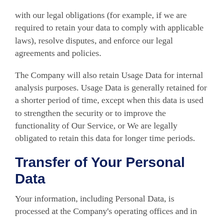with our legal obligations (for example, if we are required to retain your data to comply with applicable laws), resolve disputes, and enforce our legal agreements and policies.
The Company will also retain Usage Data for internal analysis purposes. Usage Data is generally retained for a shorter period of time, except when this data is used to strengthen the security or to improve the functionality of Our Service, or We are legally obligated to retain this data for longer time periods.
Transfer of Your Personal Data
Your information, including Personal Data, is processed at the Company's operating offices and in